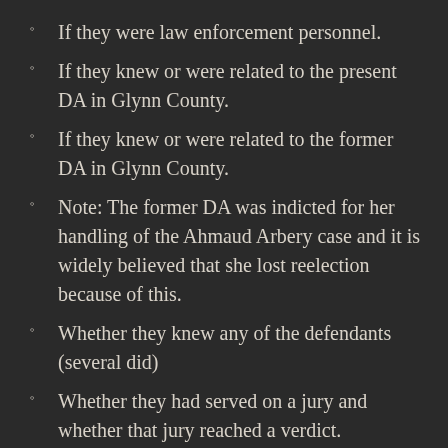If they were law enforcement personnel.
If they knew or were related to the present DA in Glynn County.
If they knew or were related to the former DA in Glynn County.
Note: The former DA was indicted for her handling of the Ahmaud Arbery case and it is widely believed that she lost reelection because of this.
Whether they knew any of the defendants (several did)
Whether they had served on a jury and whether that jury reached a verdict.